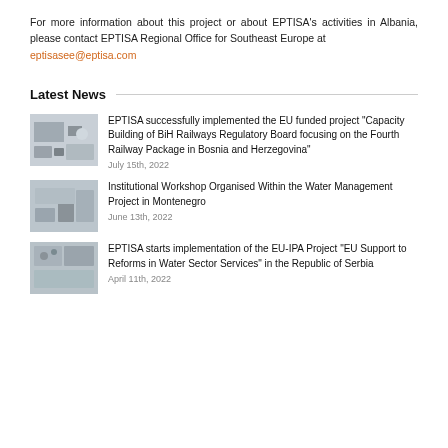For more information about this project or about EPTISA’s activities in Albania, please contact EPTISA Regional Office for Southeast Europe at eptisasee@eptisa.com
Latest News
EPTISA successfully implemented the EU funded project “Capacity Building of BiH Railways Regulatory Board focusing on the Fourth Railway Package in Bosnia and Herzegovina”
July 15th, 2022
Institutional Workshop Organised Within the Water Management Project in Montenegro
June 13th, 2022
EPTISA starts implementation of the EU-IPA Project “EU Support to Reforms in Water Sector Services” in the Republic of Serbia
April 11th, 2022